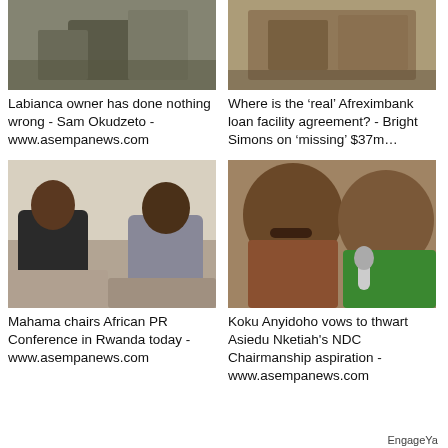[Figure (photo): Photo of a person - top left news article image]
[Figure (photo): Photo related to Afreximbank loan - top right news article image]
Labianca owner has done nothing wrong - Sam Okudzeto - www.asempanews.com
Where is the ‘real’ Afreximbank loan facility agreement? - Bright Simons on ‘missing’ $37m…
[Figure (photo): Photo of Mahama chairing African PR Conference - bottom left news article image]
[Figure (photo): Photo of Koku Anyidoho - bottom right news article image]
Mahama chairs African PR Conference in Rwanda today - www.asempanews.com
Koku Anyidoho vows to thwart Asiedu Nketiah's NDC Chairmanship aspiration - www.asempanews.com
EngageYa